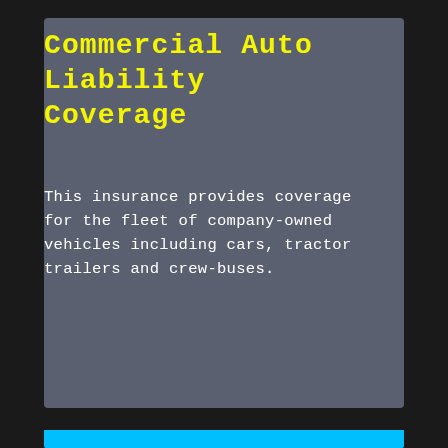Commercial Auto Liability Coverage
This insurance provides coverage for the fleet of company-owned vehicles including cars, tractor trailers and crew-buses.